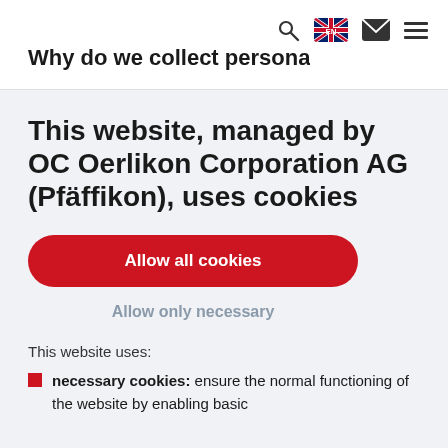Why do we collect persona
This website, managed by OC Oerlikon Corporation AG (Pfäffikon), uses cookies
Allow all cookies
Allow only necessary
This website uses:
necessary cookies: ensure the normal functioning of the website by enabling basic